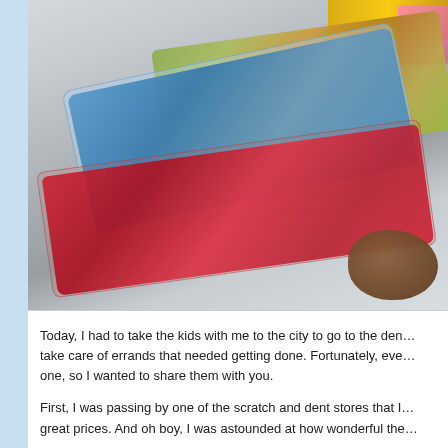[Figure (photo): Photo of assorted candy packages on a light gray surface: bags of blue wrapped candies, multicolored popcorn-like candies, red foil-wrapped chocolates, and brown chocolate pieces in the corner, with yellow candy packaging visible at the top]
Today, I had to take the kids with me to the city to go to the den... take care of errands that needed getting done. Fortunately, eve... one, so I wanted to share them with you.
First, I was passing by one of the scratch and dent stores that I... great prices. And oh boy, I was astounded at how wonderful the...